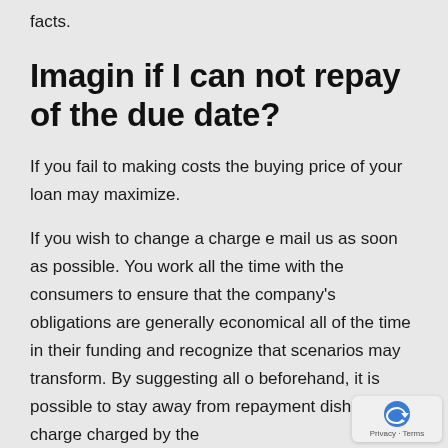facts.
Imagin if I can not repay of the due date?
If you fail to making costs the buying price of your loan may maximize.
If you wish to change a charge e mail us as soon as possible. You work all the time with the consumers to ensure that the company's obligations are generally economical all of the time in their funding and recognize that scenarios may transform. By suggesting all o beforehand, it is possible to stay away from repayment dishonour charge charged by the